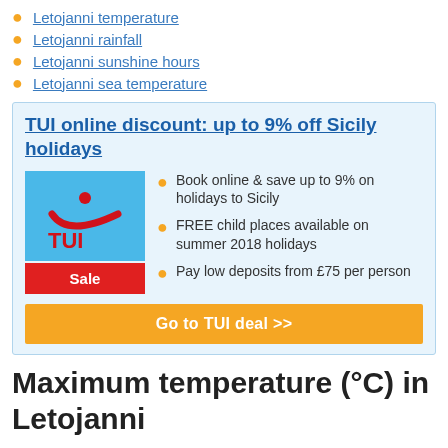Letojanni temperature
Letojanni rainfall
Letojanni sunshine hours
Letojanni sea temperature
[Figure (infographic): TUI advertisement box with logo, sale badge, bullet points, and call-to-action button. Title: TUI online discount: up to 9% off Sicily holidays. Bullets: Book online & save up to 9% on holidays to Sicily; FREE child places available on summer 2018 holidays; Pay low deposits from £75 per person. Button: Go to TUI deal >>]
Maximum temperature (°C) in Letojanni